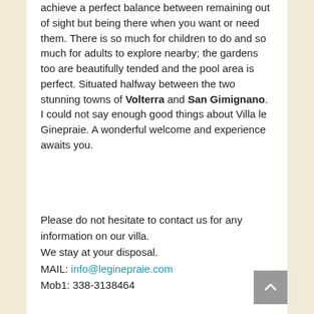achieve a perfect balance between remaining out of sight but being there when you want or need them. There is so much for children to do and so much for adults to explore nearby; the gardens too are beautifully tended and the pool area is perfect. Situated halfway between the two stunning towns of Volterra and San Gimignano. I could not say enough good things about Villa le Ginepraie. A wonderful welcome and experience awaits you.
Please do not hesitate to contact us for any information on our villa.
We stay at your disposal.
MAIL: info@leginepraie.com
Mob1: 338-3138464